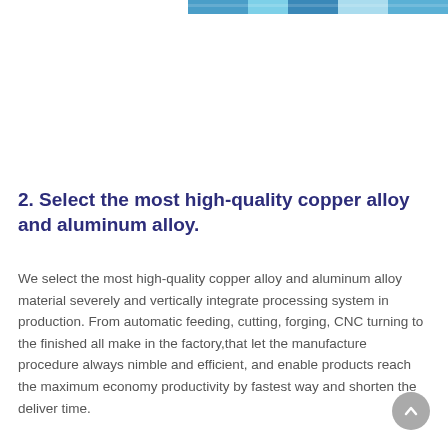[Figure (photo): Partial view of a manufacturing facility or machinery photo strip at the top of the page]
2. Select the most high-quality copper alloy and aluminum alloy.
We select the most high-quality copper alloy and aluminum alloy material severely and vertically integrate processing system in production. From automatic feeding, cutting, forging, CNC turning to the finished all make in the factory,that let the manufacture procedure always nimble and efficient, and enable products reach the maximum economy productivity by fastest way and shorten the deliver time.